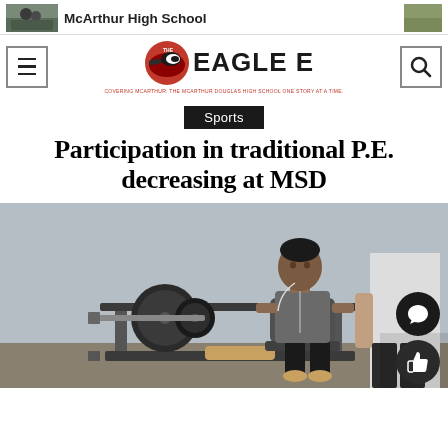McArthur High School — The Eagle Eye
Sports
Participation in traditional P.E. decreasing at MSD
[Figure (photo): A student sitting on a weight machine in a gym, using leg press equipment with weight plates visible. Another person stands to the right in a white t-shirt.]